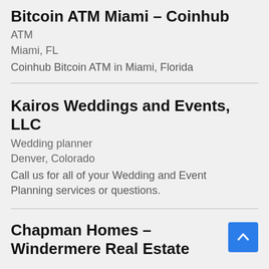Bitcoin ATM Miami – Coinhub
ATM
Miami, FL
Coinhub Bitcoin ATM in Miami, Florida
Kairos Weddings and Events, LLC
Wedding planner
Denver, Colorado
Call us for all of your Wedding and Event Planning services or questions.
Chapman Homes – Windermere Real Estate